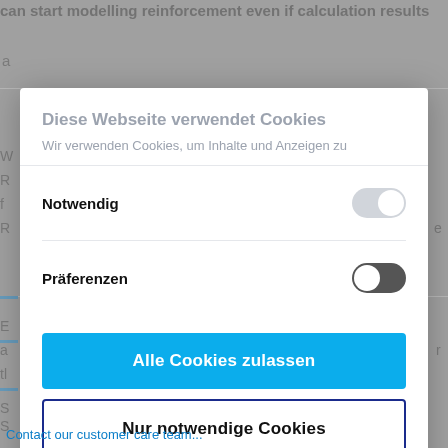can start modelling reinforcement even if calculation results
a
Diese Webseite verwendet Cookies
Wir verwenden Cookies, um Inhalte und Anzeigen zu
Notwendig
Präferenzen
Alle Cookies zulassen
Nur notwendige Cookies
Powered by Cookiebot by Usercentrics
Contact our customer care team...